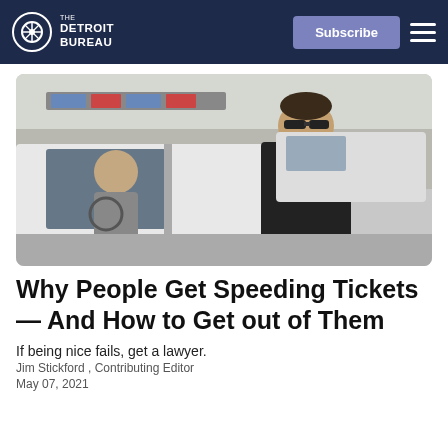THE DETROIT BUREAU | Subscribe
[Figure (photo): A police officer in black uniform and sunglasses stands at the driver's window of a white vehicle, appearing to speak with a blonde female driver. Police cruiser with blue and red lights visible in the background.]
Why People Get Speeding Tickets — And How to Get out of Them
If being nice fails, get a lawyer.
Jim Stickford , Contributing Editor
May 07, 2021